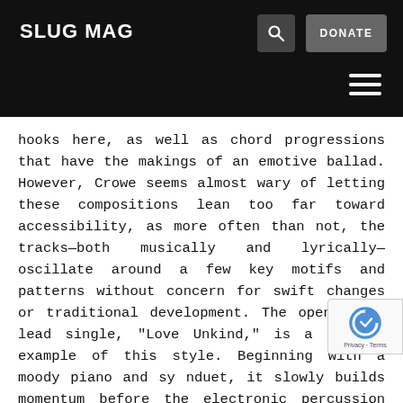SLUG MAG
hooks here, as well as chord progressions that have the makings of an emotive ballad. However, Crowe seems almost wary of letting these compositions lean too far toward accessibility, as more often than not, the tracks—both musically and lyrically—oscillate around a few key motifs and patterns without concern for swift changes or traditional development. The opener and lead single, “Love Unkind,” is a perfect example of this style. Beginning with a moody piano and sy… duet, it slowly builds momentum bef… the electronic percussion enters and the